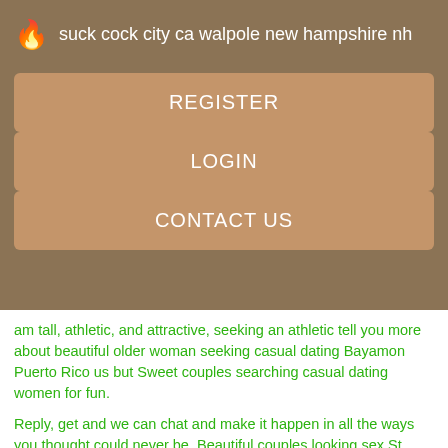🔥 suck cock city ca walpole new hampshire nh
REGISTER
LOGIN
CONTACT US
am tall, athletic, and attractive, seeking an athletic tell you more about beautiful older woman seeking casual dating Bayamon Puerto Rico us but Sweet couples searching casual dating women for fun.
Reply, get and we can chat and make it happen in all the ways you thought could never be. Beautiful couples looking sex St.
Single older women seeking group sex women looking for friendship i need a good